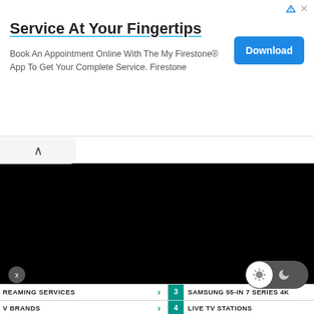[Figure (screenshot): Advertisement banner for Firestone app with Download button, showing title 'Service At Your Fingertips' and body text about booking appointments online.]
[Figure (screenshot): Black video player area with collapse tab showing upward chevron, close X button at bottom left, and day/night mode toggle at bottom right.]
REAMING SERVICES >
3  SAMSUNG 55-IN 7 SERIES 4K
V BRANDS >
4  LIVE TV STATIONS